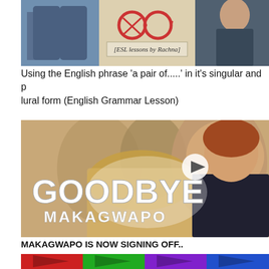[Figure (screenshot): Thumbnail image showing jeans, glasses with ESL lessons by Rachna label, and a person in dark top]
Using the English phrase 'a pair of.....' in it's singular and plural form (English Grammar Lesson)
[Figure (screenshot): Goodbye Makagwapo YouTube video thumbnail showing people with GOODBYE MAKAGWAPO text overlay and play button]
MAKAGWAPO IS NOW SIGNING OFF..
[Figure (screenshot): Colorful bottom image with red, green, purple and blue colors partially visible]